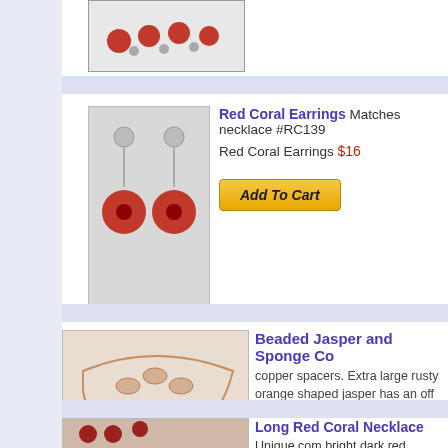[Figure (photo): Partial view of a red coral necklace with alternating red beads and silver spacers]
[Figure (photo): Red coral earrings with silver flower tops and large round red coral drops]
Red Coral Earrings Matches necklace #RC139
Red Coral Earrings $16
Add To Cart
[Figure (photo): Beaded jasper and sponge coral necklace with orange-red large beads and irregularly shaped jasper beads with copper spacers]
Beaded Jasper and Sponge Co copper spacers. Extra large rusty orange shaped jasper has an off white background necklace with earth tone clothes or match Coral and Jasper Handmade Necklace $
Add To Cart
[Figure (photo): Partial view of a long red coral necklace with dark red beads]
Long Red Coral Necklace Unique com bright dark red necklace. Use it to contra Coral Necklace $55